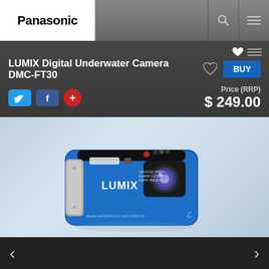[Figure (logo): Panasonic logo in black text on white background in top navigation bar]
Panasonic navigation bar with logo, search icon, and menu icon
LUMIX Digital Underwater Camera DMC-FT30
Price (RRP)
$ 249.00
[Figure (photo): Blue Panasonic LUMIX DMC-FT30 underwater camera on a light blue/grey reflective surface]
< >